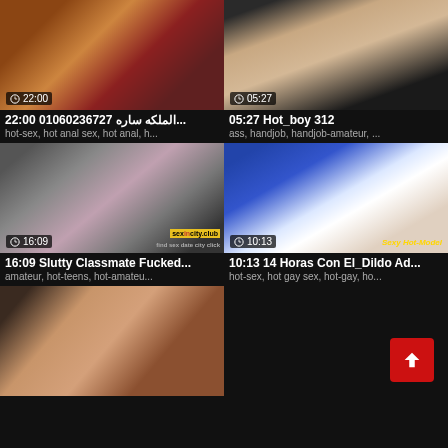[Figure (screenshot): Video thumbnail 1, duration 22:00]
22:00 الملكه ساره 01060236727...
hot-sex, hot anal sex, hot anal, h...
[Figure (screenshot): Video thumbnail 2, duration 05:27]
05:27 Hot_boy 312
ass, handjob, handjob-amateur, ...
[Figure (screenshot): Video thumbnail 3, duration 16:09, watermark sexincity.club]
16:09 Slutty Classmate Fucked...
amateur, hot-teens, hot-amateu...
[Figure (screenshot): Video thumbnail 4, duration 10:13, watermark Sexy Hot-Model]
10:13 14 Horas Con El_Dildo Ad...
hot-sex, hot gay sex, hot-gay, ho...
[Figure (screenshot): Video thumbnail 5, partial, bottom left]